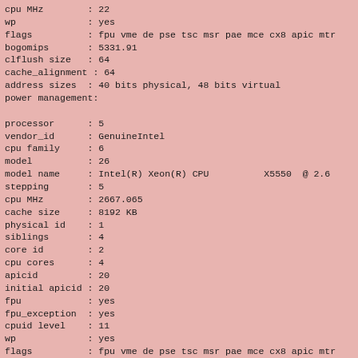cpu MHz : 22
wp : yes
flags : fpu vme de pse tsc msr pae mce cx8 apic mtr
bogomips : 5331.91
clflush size : 64
cache_alignment : 64
address sizes : 40 bits physical, 48 bits virtual
power management:

processor : 5
vendor_id : GenuineIntel
cpu family : 6
model : 26
model name : Intel(R) Xeon(R) CPU          X5550  @ 2.6
stepping : 5
cpu MHz : 2667.065
cache size : 8192 KB
physical id : 1
siblings : 4
core id : 2
cpu cores : 4
apicid : 20
initial apicid : 20
fpu : yes
fpu_exception : yes
cpuid level : 11
wp : yes
flags : fpu vme de pse tsc msr pae mce cx8 apic mtr
bogomips : 5331.91
clflush size : 64
cache_alignment : 64
address sizes : 40 bits physical, 48 bits virtual
power management: